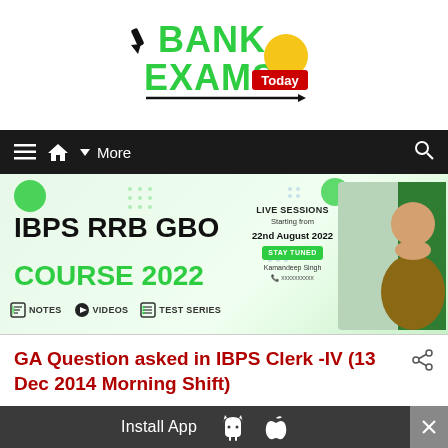[Figure (logo): Bank Exams Today logo — green bold BANK text, green EXAMS text with yellow circle and red Today ribbon, black underline with arrow]
[Figure (screenshot): Navigation bar with hamburger menu, home icon, More dropdown, and search icon on dark background]
[Figure (infographic): IBPS RRB GBO Course 2022 promotional banner with green accents, notes/videos/test series icons, live sessions starting 22nd August 2022, Stay Tuned button, instructor photo]
GA Question asked in IBPS Clerk -IV (13 Dec 2014 Morning Shift)
[Figure (infographic): Install App bar with Android and Apple icons, close button]
Install App